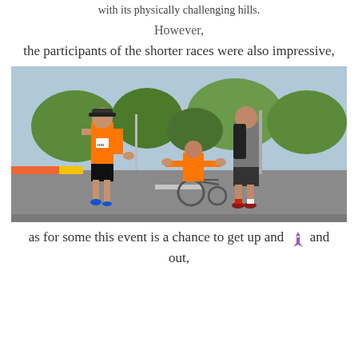with its physically challenging hills.
However,
the participants of the shorter races were also impressive,
[Figure (photo): Three people on a road — a tall runner in orange, a shorter person in a wheelchair wearing orange, and a man in grey carrying a backpack — shaking hands during what appears to be a race event with trees and road signs in the background.]
as for some this event is a chance to get up and out,